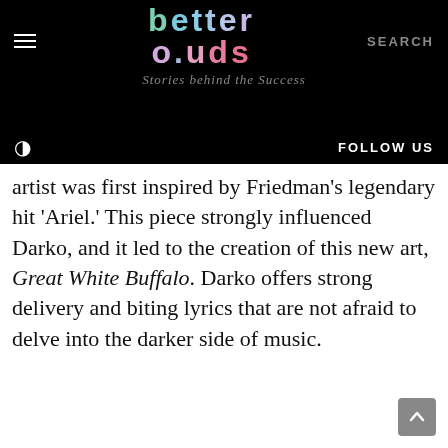better ouds — Stories behind the Success
artist was first inspired by Friedman's legendary hit 'Ariel.' This piece strongly influenced Darko, and it led to the creation of this new art, Great White Buffalo. Darko offers strong delivery and biting lyrics that are not afraid to delve into the darker side of music.